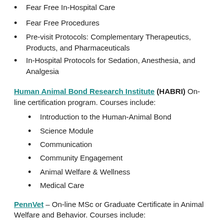Fear Free In-Hospital Care
Fear Free Procedures
Pre-visit Protocols: Complementary Therapeutics, Products, and Pharmaceuticals
In-Hospital Protocols for Sedation, Anesthesia, and Analgesia
Human Animal Bond Research Institute (HABRI) On-line certification program. Courses include:
Introduction to the Human-Animal Bond
Science Module
Communication
Community Engagement
Animal Welfare & Wellness
Medical Care
PennVet – On-line MSc or Graduate Certificate in Animal Welfare and Behavior. Courses include:
Animal Welfare Science
Fundamentals of Animal Behavior